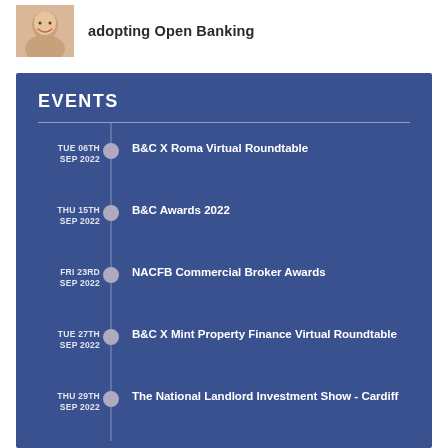[Figure (photo): Headshot photo of a smiling woman, cropped to show face and shoulders]
adopting Open Banking
EVENTS
TUE 06TH SEP 2022 — B&C X Roma Virtual Roundtable
THU 15TH SEP 2022 — B&C Awards 2022
FRI 23RD SEP 2022 — NACFB Commercial Broker Awards
TUE 27TH SEP 2022 — B&C X Mint Property Finance Virtual Roundtable
THU 29TH SEP 2022 — The National Landlord Investment Show - Cardiff